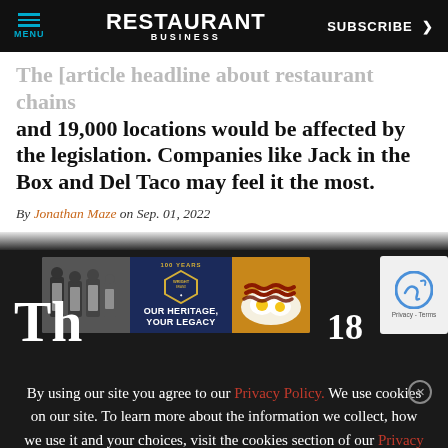MENU | RESTAURANT BUSINESS | SUBSCRIBE >
and 19,000 locations would be affected by the legislation. Companies like Jack in the Box and Del Taco may feel it the most.
By Jonathan Maze on Sep. 01, 2022
[Figure (photo): Wright Brand advertisement banner: black and white photo of men in white uniforms on left, Wright Brand badge logo in center, text 'OUR HERITAGE, YOUR LEGACY', food photo of bacon and eggs on right]
By using our site you agree to our Privacy Policy. We use cookies on our site. To learn more about the information we collect, how we use it and your choices, visit the cookies section of our Privacy Policy.